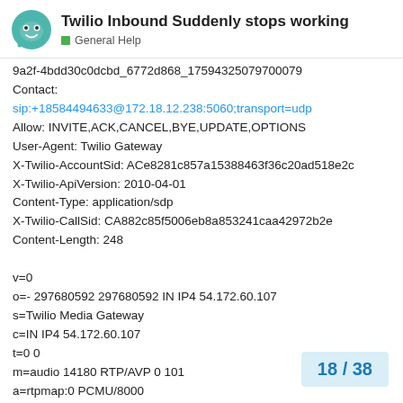Twilio Inbound Suddenly stops working — General Help
9a2f-4bdd30c0dcbd_6772d868_17594325079700079
Contact:
sip:+18584494633@172.18.12.238:5060;transport=udp
Allow: INVITE,ACK,CANCEL,BYE,UPDATE,OPTIONS
User-Agent: Twilio Gateway
X-Twilio-AccountSid: ACe8281c857a15388463f36c20ad518e2c
X-Twilio-ApiVersion: 2010-04-01
Content-Type: application/sdp
X-Twilio-CallSid: CA882c85f5006eb8a853241caa42972b2e
Content-Length: 248

v=0
o=- 297680592 297680592 IN IP4 54.172.60.107
s=Twilio Media Gateway
c=IN IP4 54.172.60.107
t=0 0
m=audio 14180 RTP/AVP 0 101
a=rtpmap:0 PCMU/8000
a=rtpmap:101 telephone-event/8000
18 / 38